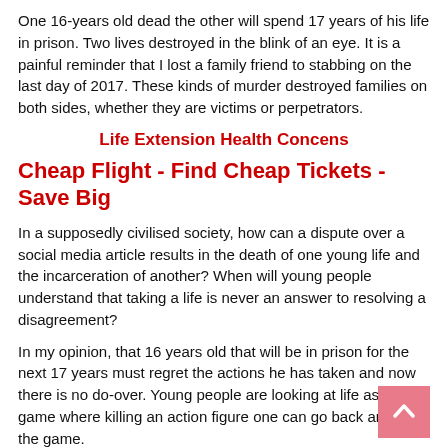One 16-years old dead the other will spend 17 years of his life in prison. Two lives destroyed in the blink of an eye. It is a painful reminder that I lost a family friend to stabbing on the last day of 2017. These kinds of murder destroyed families on both sides, whether they are victims or perpetrators.
Life Extension Health Concens
Cheap Flight - Find Cheap Tickets - Save Big
In a supposedly civilised society, how can a dispute over a social media article results in the death of one young life and the incarceration of another? When will young people understand that taking a life is never an answer to resolving a disagreement?
In my opinion, that 16 years old that will be in prison for the next 17 years must regret the actions he has taken and now there is no do-over. Young people are looking at life as if is a game where killing an action figure one can go back and reset the game.